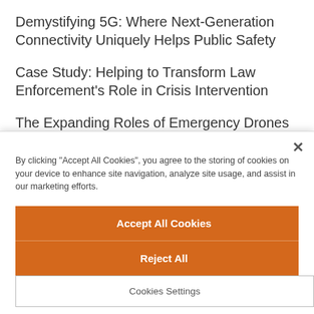Demystifying 5G: Where Next-Generation Connectivity Uniquely Helps Public Safety
Case Study: Helping to Transform Law Enforcement's Role in Crisis Intervention
The Expanding Roles of Emergency Drones for Disaster Management
By clicking "Accept All Cookies", you agree to the storing of cookies on your device to enhance site navigation, analyze site usage, and assist in our marketing efforts.
Accept All Cookies
Reject All
Cookies Settings